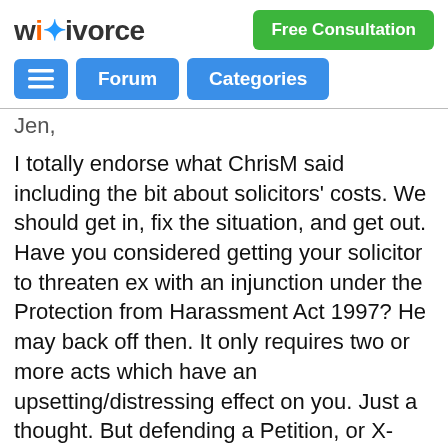wikivorce | Free Consultation
Forum | Categories
Jen,
I totally endorse what ChrisM said including the bit about solicitors' costs. We should get in, fix the situation, and get out. Have you considered getting your solicitor to threaten ex with an injunction under the Protection from Harassment Act 1997? He may back off then. It only requires two or more acts which have an upsetting/distressing effect on you. Just a thought. But defending a Petition, or X-petitioning, is just plain stupid. It ends up costing